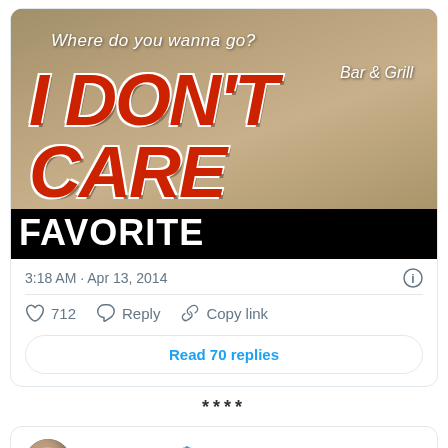[Figure (photo): A photo of a restaurant sign that reads 'I DON'T CARE Bar & Grill' with smaller text 'Where do you wanna go?' above it. Below the photo, overlaid text in bold white on black reads 'FAVORITE RESTAURANT'.]
3:18 AM · Apr 13, 2014
712  Reply  Copy link
Read 70 replies
****
George Takei @GeorgeTakei · Follow